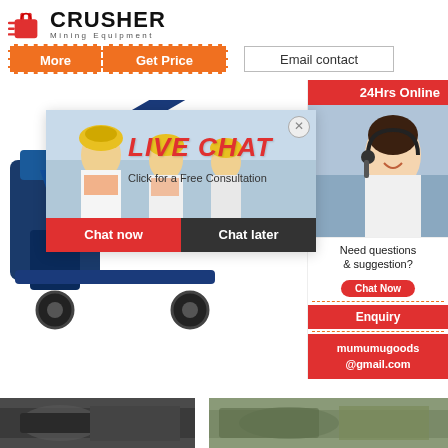[Figure (logo): Crusher Mining Equipment logo with red shopping bag icon and bold CRUSHER text]
More | Get Price | Email contact
[Figure (photo): Live Chat popup overlay showing workers in hard hats, LIVE CHAT title in red italic, Click for a Free Consultation subtitle, Chat now and Chat later buttons]
[Figure (photo): Right sidebar with 24Hrs Online badge, customer service representative with headset photo, Need questions & suggestion? Chat Now button, Enquiry section, mumumugoods@gmail.com email]
[Figure (photo): Bottom image strip showing mining/industrial equipment photos]